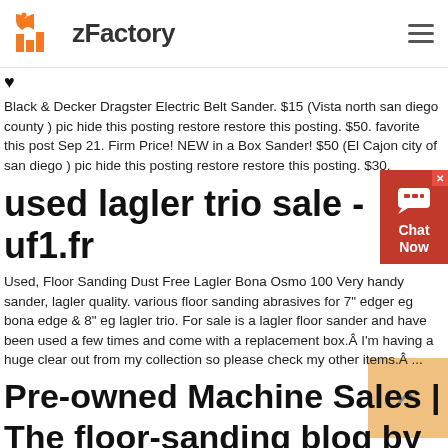zFactory
Black & Decker Dragster Electric Belt Sander. $15 (Vista north san diego county ) pic hide this posting restore restore this posting. $50. favorite this post Sep 21. Firm Price! NEW in a Box Sander! $50 (El Cajon city of san diego ) pic hide this posting restore restore this posting. $30.
used lagler trio sale - uf1.fr
Used, Floor Sanding Dust Free Lagler Bona Osmo 100 Very handy sander, lagler quality. various floor sanding abrasives for 7" edger eg bona edge & 8" eg lagler trio. For sale is a lagler floor sander and have been used a few times and come with a replacement box.Â I'm having a huge clear out from my collection so please check my other items.Â ...
Pre-owned Machine Sales | The floor-sanding blog by Lagler ...